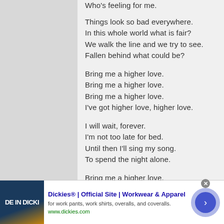Who's feeling for me.
Things look so bad everywhere.
In this whole world what is fair?
We walk the line and we try to see.
Fallen behind what could be?
Bring me a higher love.
Bring me a higher love.
Bring me a higher love.
I've got higher love, higher love.
I will wait, forever.
I'm not too late for bed.
Until then I'll sing my song.
To spend the night alone.
Bring me a higher love.
Bring me a higher love.
Bring me a higher love.
[Figure (infographic): Advertisement banner for Dickies workwear with logo image, title text, description, URL, close button, and arrow button]